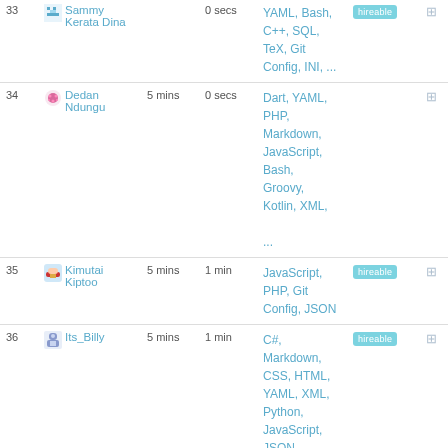| # | User | Time1 | Time2 | Languages | Badge | Icon |
| --- | --- | --- | --- | --- | --- | --- |
| 33 | Sammy Kerata Dina |  | 0 secs | YAML, Bash, C++, SQL, TeX, Git Config, INI, ... | hireable |  |
| 34 | Dedan Ndungu | 5 mins | 0 secs | Dart, YAML, PHP, Markdown, JavaScript, Bash, Groovy, Kotlin, XML, ... |  |  |
| 35 | Kimutai Kiptoo | 5 mins | 1 min | JavaScript, PHP, Git Config, JSON | hireable |  |
| 36 | Its_Billy | 5 mins | 1 min | C#, Markdown, CSS, HTML, YAML, XML, Python, JavaScript, JSON, ... | hireable |  |